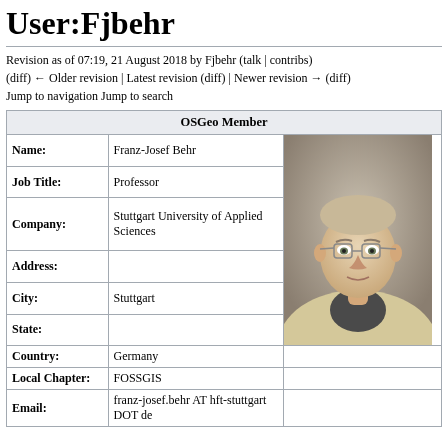User:Fjbehr
Revision as of 07:19, 21 August 2018 by Fjbehr (talk | contribs)
(diff) ← Older revision | Latest revision (diff) | Newer revision → (diff)
Jump to navigation Jump to search
| OSGeo Member |
| --- |
| Name: | Franz-Josef Behr | (photo) |
| Job Title: | Professor |  |
| Company: | Stuttgart University of Applied Sciences |  |
| Address: |  |  |
| City: | Stuttgart |  |
| State: |  |  |
| Country: | Germany |  |
| Local Chapter: | FOSSGIS |  |
| Email: | franz-josef.behr AT hft-stuttgart DOT de |  |